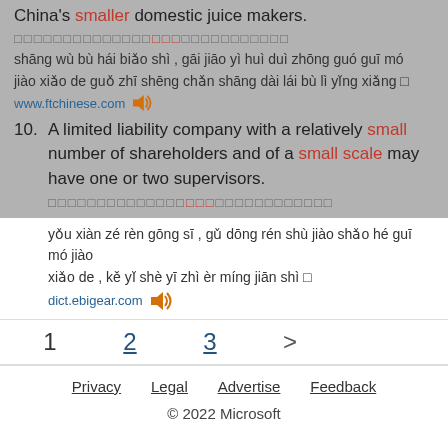China's smaller domestic juice makers.
[Chinese characters with red highlight]
shāng wù bù hái biǎo shì , gāi jiāo yì huì duì zhōng guó guī mó jiào xiǎo de guǒ zhī shēng chǎn shāng dài lái bù lì yǐng xiǎng
www.ftchinese.com [speaker icon]
10. A limited liability company with a relatively small number of shareholders and of a small scale may have one or two supervisors.
[Chinese characters with red highlight]
yǒu xiàn zé rèn gōng sī , gǔ dōng rén shù jiào shǎo hé guī mó jiào xiǎo de , kě yǐ shè yī zhì èr míng jiān shì
dict.ebigear.com [speaker icon]
1  2  3  >
Privacy  Legal  Advertise  Feedback
© 2022 Microsoft